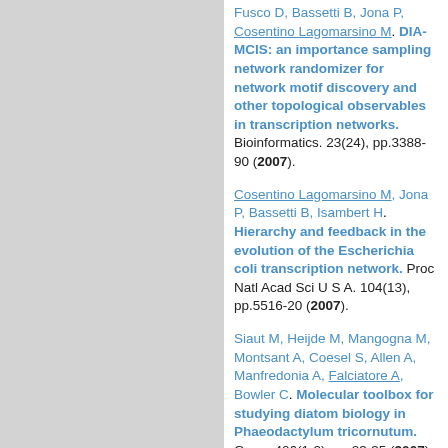Fusco D, Bassetti B, Jona P, Cosentino Lagomarsino M. DIA-MCIS: an importance sampling network randomizer for network motif discovery and other topological observables in transcription networks. Bioinformatics. 23(24), pp.3388-90 (2007).
Cosentino Lagomarsino M, Jona P, Bassetti B, Isambert H. Hierarchy and feedback in the evolution of the Escherichia coli transcription network. Proc Natl Acad Sci U S A. 104(13), pp.5516-20 (2007).
Siaut M, Heijde M, Mangogna M, Montsant A, Coesel S, Allen A, Manfredonia A, Falciatore A, Bowler C. Molecular toolbox for studying diatom biology in Phaeodactylum tricornutum. Gene. 406(1-2), pp.23-35 (2007).
Llopis I, Pagonabarraga I, Cosentino Lagomarsino M, Lowe CP. Sedimentation of pairs of hydrodynamically interacting semiflexible filaments. Phys Rev E Stat Nonlin Soft Matter.